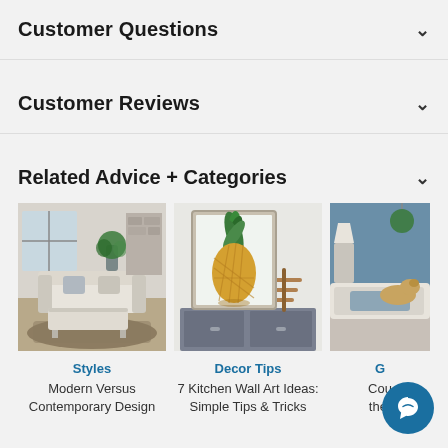Customer Questions
Customer Reviews
Related Advice + Categories
[Figure (photo): Living room with white sofa, coffee table, and patterned rug — Styles category card]
[Figure (photo): Framed pineapple wall art on a cabinet — Decor Tips category card]
[Figure (photo): Blue bedroom with a golden retriever on the bed — partially visible third card]
Styles
Modern Versus Contemporary Design
Decor Tips
7 Kitchen Wall Art Ideas: Simple Tips & Tricks